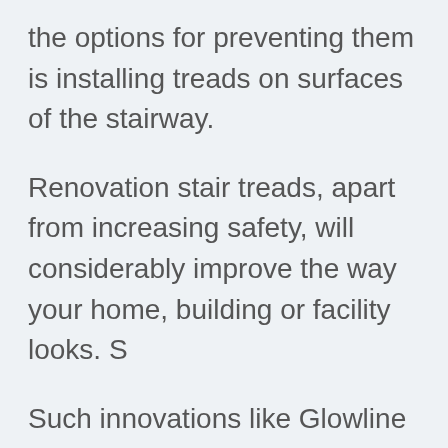the options for preventing them is installing treads on surfaces of the stairway.
Renovation stair treads, apart from increasing safety, will considerably improve the way your home, building or facility looks. S
Such innovations like Glowline which is glow-in-the-dark stair treads provide better visibility to your stairs even when the room is poorly lit. In addition, Amstep offers Nightline, an anti-slip stair tread which is mainly helpful for